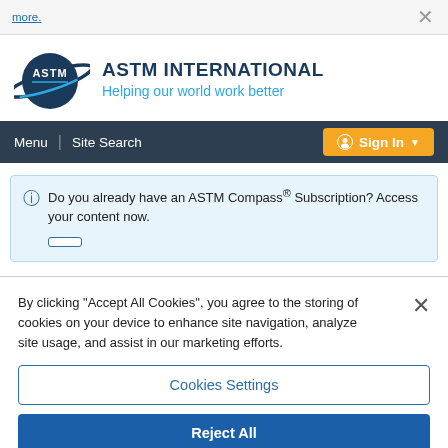more. ×
[Figure (logo): ASTM International logo — circular globe with ASTM letters and swoosh, dark navy blue]
ASTM INTERNATIONAL
Helping our world work better
Menu  |  Site Search   Sign In
Do you already have an ASTM Compass® Subscription? Access your content now.
By clicking "Accept All Cookies", you agree to the storing of cookies on your device to enhance site navigation, analyze site usage, and assist in our marketing efforts.
Cookies Settings
Reject All